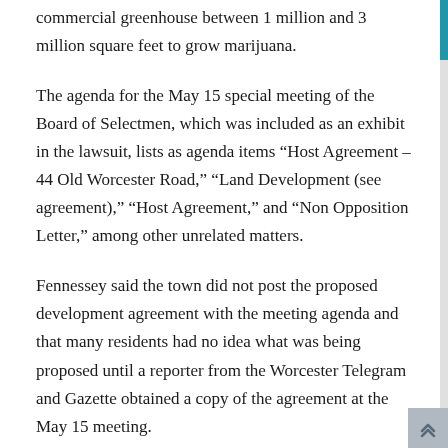commercial greenhouse between 1 million and 3 million square feet to grow marijuana.
The agenda for the May 15 special meeting of the Board of Selectmen, which was included as an exhibit in the lawsuit, lists as agenda items “Host Agreement – 44 Old Worcester Road,” “Land Development (see agreement),” “Host Agreement,” and “Non Opposition Letter,” among other unrelated matters.
Fennessey said the town did not post the proposed development agreement with the meeting agenda and that many residents had no idea what was being proposed until a reporter from the Worcester Telegram and Gazette obtained a copy of the agreement at the May 15 meeting.